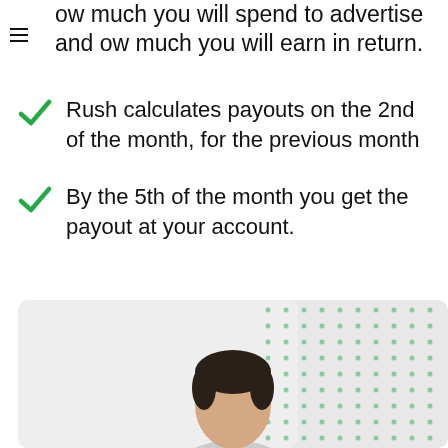ow much you will spend to advertise and ow much you will earn in return.
Rush calculates payouts on the 2nd of the month, for the previous month
By the 5th of the month you get the payout at your account.
[Figure (photo): A person (man with dark hair) shown from shoulders up, against a light grey background with a green dot pattern in the upper right corner.]